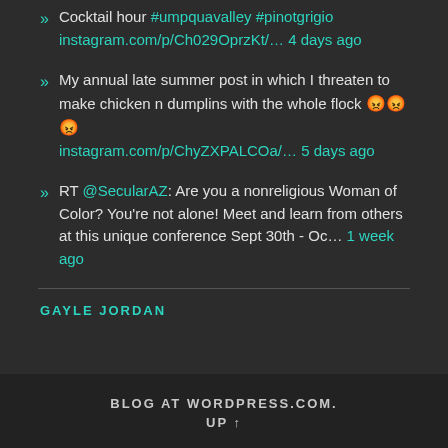» Cocktail hour #umpquavalley #pinotgrigio instagram.com/p/Ch029OprzKt/… 4 days ago
» My annual late summer post in which I threaten to make chicken n dumplins with the whole flock 😡😡😡 instagram.com/p/ChyZXPALCOa/… 5 days ago
» RT @SecularAZ: Are you a nonreligious Woman of Color? You're not alone! Meet and learn from others at this unique conference Sept 30th - Oc… 1 week ago
GAYLE JORDAN
BLOG AT WORDPRESS.COM. UP ↑